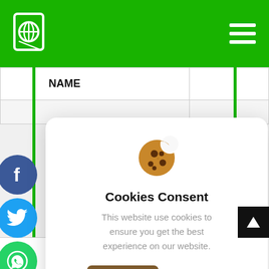[Figure (screenshot): Green navigation header bar with a globe/passport icon on the left and a hamburger menu icon on the right]
| NAME |  |
| --- | --- |
|  |  |
|  | S.O |
| RELATED | Palani H.O |
[Figure (infographic): Cookie consent modal popup with cookie emoji icon, title 'Cookies Consent', body text, 'I understand' button and 'Privacy Policy' link. Social media share buttons (Facebook, Twitter, WhatsApp, close) on left side.]
Cookies Consent
This website use cookies to ensure you get the best experience on our website.
I understand
Privacy Policy